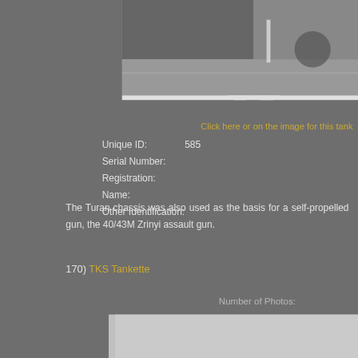[Figure (photo): Black and white photograph of a tank (Turan chassis vehicle), showing part of the hull and running gear, cropped at the top of the page.]
Click here or on the image for this tank
| Unique ID: | 585 |
| Serial Number: |  |
| Registration: |  |
| Name: |  |
| Other Identification: |  |
The Turan chassis was also used as the basis for a self-propelled gun, the 40/43M Zrinyi assault gun.
170) TKS Tankette
Number of Photos:
[Figure (photo): Partial bottom photo area, light grey, cropped at bottom of page.]